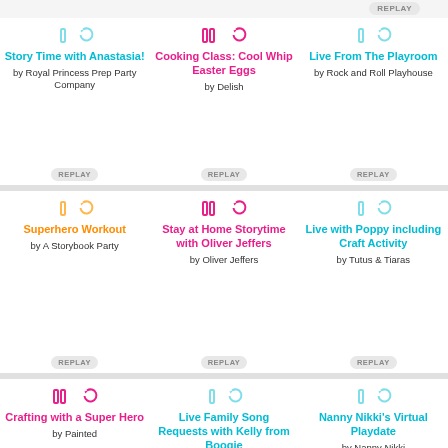REPLAY
[Figure (illustration): Story Time with Anastasia card with replay icon]
Story Time with Anastasia!
by Royal Princess Prep Party Company
REPLAY
[Figure (illustration): Cooking Class: Cool Whip Easter Eggs card with replay icon]
Cooking Class: Cool Whip Easter Eggs
by Delish
REPLAY
[Figure (illustration): Live From The Playroom card with replay icon]
Live From The Playroom
by Rock and Roll Playhouse
REPLAY
[Figure (illustration): Superhero Workout card with replay icon]
Superhero Workout
by A Storybook Party
REPLAY
[Figure (illustration): Stay at Home Storytime with Oliver Jeffers card with replay icon]
Stay at Home Storytime with Oliver Jeffers
by Oliver Jeffers
REPLAY
[Figure (illustration): Live with Poppy including Craft Activity card with replay icon]
Live with Poppy including Craft Activity
by Tutus & Tiaras
REPLAY
[Figure (illustration): Crafting with a Super Hero card with replay icon]
Crafting with a Super Hero
by Painted
[Figure (illustration): Live Family Song Requests with Kelly from Boogie card with replay icon]
Live Family Song Requests with Kelly from Boogie
[Figure (illustration): Nanny Nikki's Virtual Playdate card with replay icon]
Nanny Nikki's Virtual Playdate
by Nanny Nikki